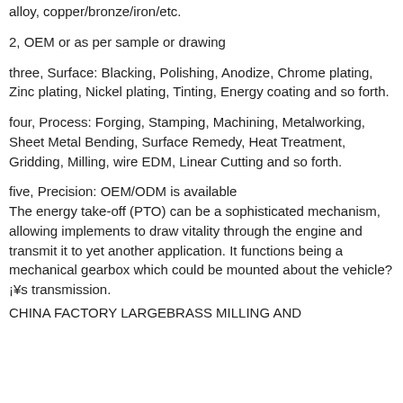alloy, copper/bronze/iron/etc.
2, OEM or as per sample or drawing
three, Surface: Blacking, Polishing, Anodize, Chrome plating, Zinc plating, Nickel plating, Tinting, Energy coating and so forth.
four, Process: Forging, Stamping, Machining, Metalworking, Sheet Metal Bending, Surface Remedy, Heat Treatment, Gridding, Milling, wire EDM, Linear Cutting and so forth.
five, Precision: OEM/ODM is available
The energy take-off (PTO) can be a sophisticated mechanism, allowing implements to draw vitality through the engine and transmit it to yet another application. It functions being a mechanical gearbox which could be mounted about the vehicle?¡¥s transmission.
CHINA FACTORY LARGEBRASS MILLING AND